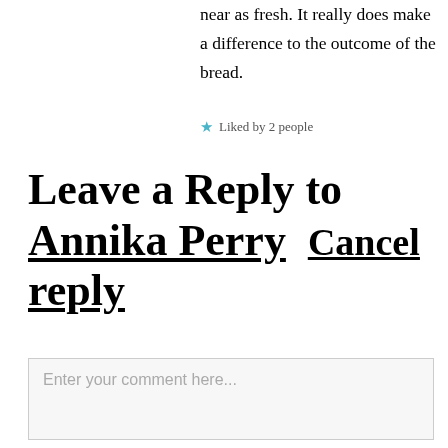near as fresh. It really does make a difference to the outcome of the bread.
★ Liked by 2 people
Leave a Reply to Annika Perry  Cancel reply
Enter your comment here...